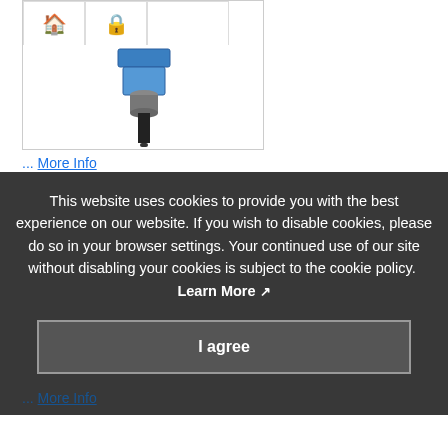[Figure (screenshot): Screenshot of a product page showing browser tabs with a home icon (pink) and a lock icon (gold/brown), and a product image of an industrial sensor/cable connector device below the tabs.]
... More Info
This website uses cookies to provide you with the best experience on our website. If you wish to disable cookies, please do so in your browser settings. Your continued use of our site without disabling your cookies is subject to the cookie policy. Learn More ↗
I agree
... More Info